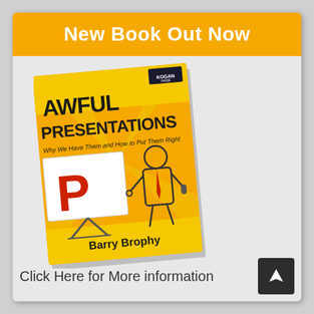New Book Out Now
[Figure (illustration): Book cover for 'Awful Presentations: Why We Have Them and How to Put Them Right' by Barry Brophy. Orange and yellow cover with a cartoon presenter holding a microphone next to a presentation board showing a large red letter P.]
Click Here for More information